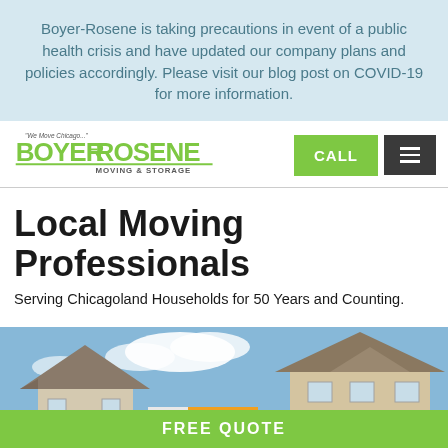Boyer-Rosene is taking precautions in event of a public health crisis and have updated our company plans and policies accordingly. Please visit our blog post on COVID-19 for more information.
[Figure (logo): Boyer Rosene Moving & Storage logo with green stylized text and tagline 'We Move Chicago...']
Local Moving Professionals
Serving Chicagoland Households for 50 Years and Counting.
[Figure (photo): Suburban houses with a moving truck partially visible, under a blue sky with clouds]
FREE QUOTE